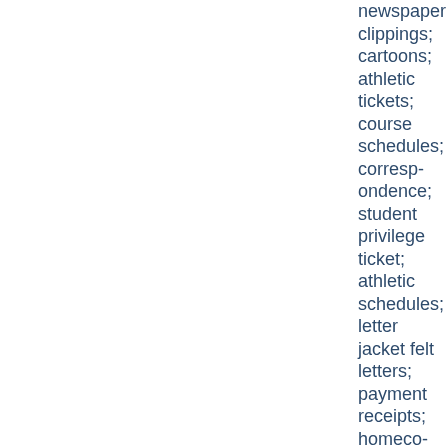newspaper clippings; cartoons; athletic tickets; course schedules; correspondence; student privilege ticket; athletic schedules; letter jacket felt letters; payment receipts; homecoming; prayers and sayings; Agricultural Student Council (U of M); Red